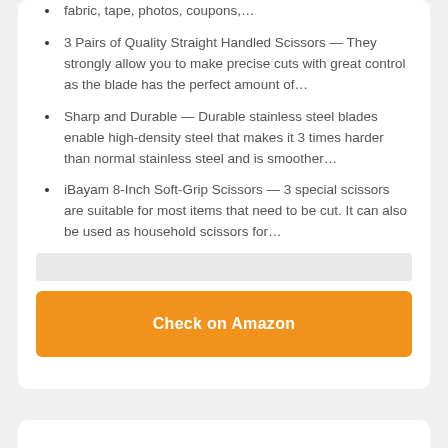fabric, tape, photos, coupons,…
3 Pairs of Quality Straight Handled Scissors — They strongly allow you to make precise cuts with great control as the blade has the perfect amount of…
Sharp and Durable — Durable stainless steel blades enable high-density steel that makes it 3 times harder than normal stainless steel and is smoother…
iBayam 8-Inch Soft-Grip Scissors — 3 special scissors are suitable for most items that need to be cut. It can also be used as household scissors for…
[Figure (other): Gray search/filter bar]
[Figure (other): Orange 'Check on Amazon' button]